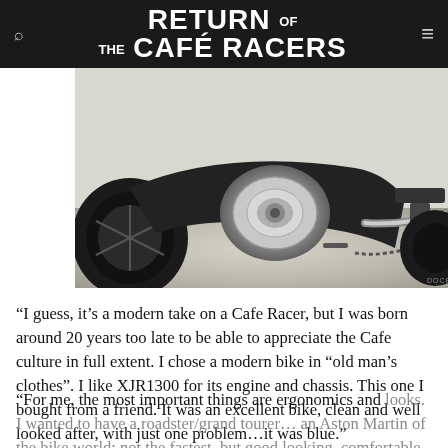RETURN OF THE CAFÉ RACERS
[Figure (photo): Close-up photograph of a motorcycle engine and frame, showing black and chrome engine components, exhaust pipe, and rear wheel details against a light pavement background.]
“I guess, it’s a modern take on a Cafe Racer, but I was born around 20 years too late to be able to appreciate the Cafe culture in full extent. I chose a modern bike in “old man’s clothes”. I like XJR1300 for its engine and chassis. This one I bought from a friend. It was an excellent bike, clean and well looked after, with just one problem…it was blue.”
“For me, the most important things are ergonomics and looks. I wanted to have a roadster/grand tourer… an Aston Martin of the bike world: not the fastest, but good looking, comfortable and strong…”